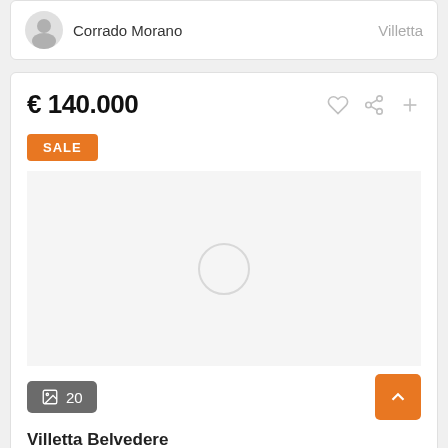Corrado Morano
Villetta
€ 140.000
SALE
[Figure (other): Loading spinner / empty image area with grey circle]
20
Villetta Belvedere